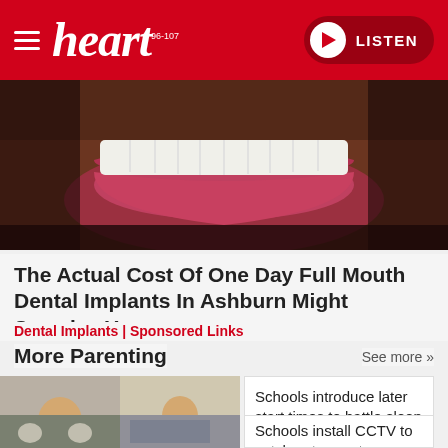heart 96-107 | LISTEN
[Figure (photo): Close-up photo of a person's smile showing teeth and lips with stubble/beard]
The Actual Cost Of One Day Full Mouth Dental Implants In Ashburn Might Surprise You
Dental Implants | Sponsored Links
More Parenting
See more »
[Figure (photo): Composite thumbnail showing students sleeping at desks and in classroom chairs]
Schools introduce later start times to battle sleep deprivation in kids
[Figure (photo): Composite thumbnail showing school children outside and a building]
Schools install CCTV to catch out parents